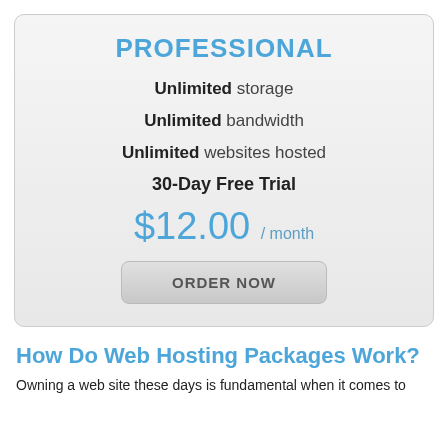PROFESSIONAL
Unlimited storage
Unlimited bandwidth
Unlimited websites hosted
30-Day Free Trial
$12.00 / month
ORDER NOW
How Do Web Hosting Packages Work?
Owning a web site these days is fundamental when it comes to